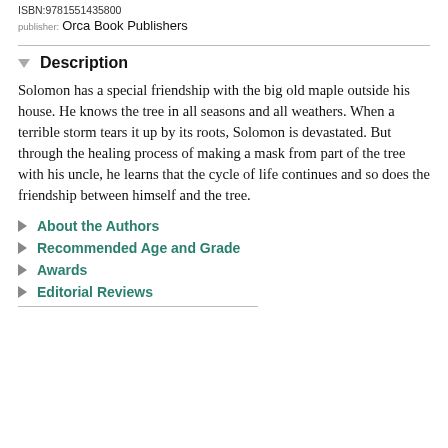ISBN:9781551435800
publisher: Orca Book Publishers
Description
Solomon has a special friendship with the big old maple outside his house. He knows the tree in all seasons and all weathers. When a terrible storm tears it up by its roots, Solomon is devastated. But through the healing process of making a mask from part of the tree with his uncle, he learns that the cycle of life continues and so does the friendship between himself and the tree.
About the Authors
Recommended Age and Grade
Awards
Editorial Reviews